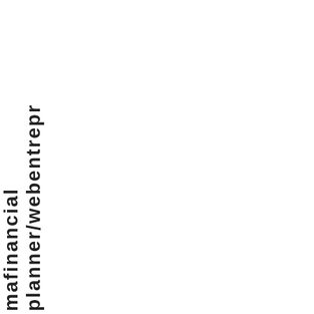mafinancial planner/webentrepr